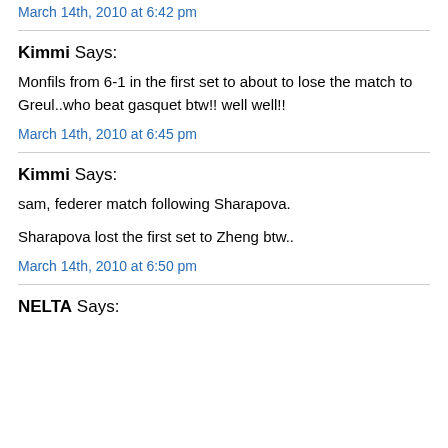March 14th, 2010 at 6:42 pm
Kimmi Says:
Monfils from 6-1 in the first set to about to lose the match to Greul..who beat gasquet btw!! well well!!
March 14th, 2010 at 6:45 pm
Kimmi Says:
sam, federer match following Sharapova.
Sharapova lost the first set to Zheng btw..
March 14th, 2010 at 6:50 pm
NELTA Says: